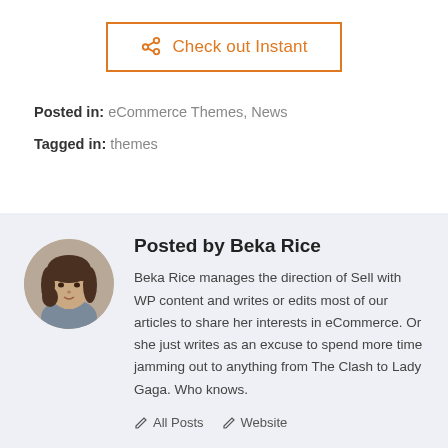[Figure (other): Orange-bordered button with share icon and text 'Check out Instant']
Posted in: eCommerce Themes, News
Tagged in: themes
[Figure (photo): Circular avatar photo of Beka Rice, a woman with dark hair]
Posted by Beka Rice
Beka Rice manages the direction of Sell with WP content and writes or edits most of our articles to share her interests in eCommerce. Or she just writes as an excuse to spend more time jamming out to anything from The Clash to Lady Gaga. Who knows.
All Posts  Website